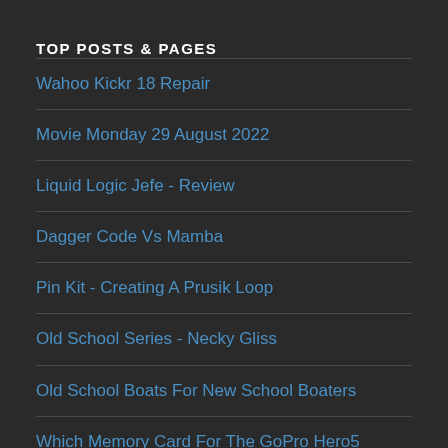TOP POSTS & PAGES
Wahoo Kickr 18 Repair
Movie Monday 29 August 2022
Liquid Logic Jefe - Review
Dagger Code Vs Mamba
Pin Kit - Creating A Prusik Loop
Old School Series - Necky Gliss
Old School Boats For New School Boaters
Which Memory Card For The GoPro Hero5 Session?
Pyranha i3 - Review